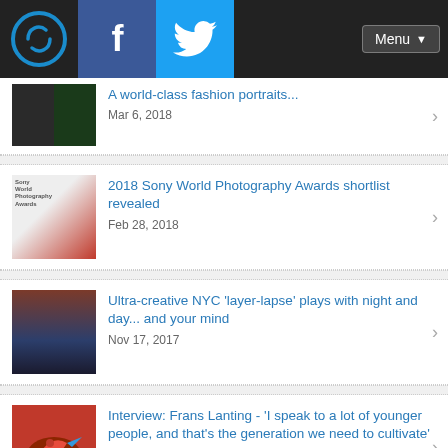Navigation bar with logo, Facebook, Twitter, Menu
Mar 6, 2018
2018 Sony World Photography Awards shortlist revealed
Feb 28, 2018
Ultra-creative NYC 'layer-lapse' plays with night and day... and your mind
Nov 17, 2017
Interview: Frans Lanting - 'I speak to a lot of younger people, and that's the generation we need to cultivate'
Apr 22, 2019
Latest sample galleries